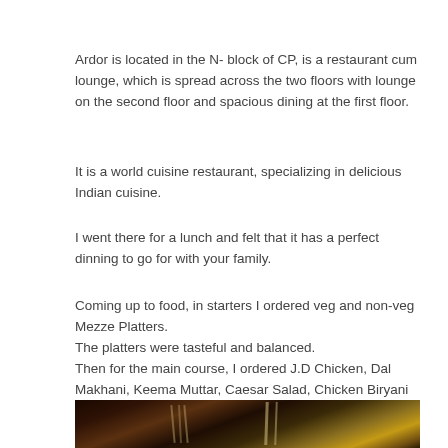Ardor is located in the N- block of CP, is a restaurant cum lounge, which is spread across the two floors with lounge on the second floor and spacious dining at the first floor.
It is a world cuisine restaurant, specializing in delicious Indian cuisine.
I went there for a lunch and felt that it has a perfect dinning to go for with your family.
Coming up to food, in starters I ordered veg and non-veg Mezze Platters.
The platters were tasteful and balanced.
Then for the main course, I ordered J.D Chicken, Dal Makhani, Keema Muttar, Caesar Salad, Chicken Biryani and Mutton Rara.
[Figure (photo): Photo of food/table setting at the restaurant Ardor, showing cutlery and table items with warm brown tones.]